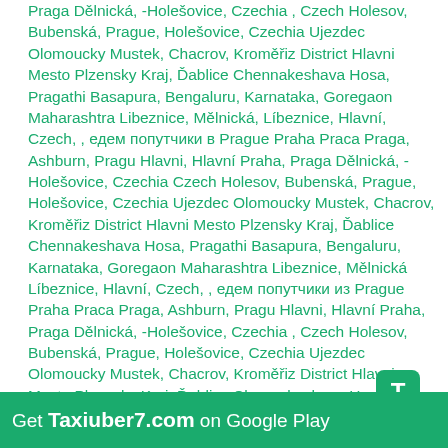Praga Dělnická, -Holešovice, Czechia , Czech Holesov, Bubenská, Prague, Holešovice, Czechia Ujezdec Olomoucky Mustek, Chacrov, Kroměřiz District Hlavni Mesto Plzensky Kraj, Ďablice Chennakeshava Hosa, Pragathi Basapura, Bengaluru, Karnataka, Goregaon Maharashtra Libeznice, Mělnická, Líbeznice, Hlavní, Czech, , едем попутчики в Prague Praha Praca Praga, Ashburn, Pragu Hlavni, Hlavní Praha, Praga Dělnická, -Holešovice, Czechia Czech Holesov, Bubenská, Prague, Holešovice, Czechia Ujezdec Olomoucky Mustek, Chacrov, Kroměřiz District Hlavni Mesto Plzensky Kraj, Ďablice Chennakeshava Hosa, Pragathi Basapura, Bengaluru, Karnataka, Goregaon Maharashtra Libeznice, Mělnická Líbeznice, Hlavní, Czech, , едем попутчики из Prague Praha Praca Praga, Ashburn, Pragu Hlavni, Hlavní Praha, Praga Dělnická, -Holešovice, Czechia , Czech Holesov, Bubenská, Prague, Holešovice, Czechia Ujezdec Olomoucky Mustek, Chacrov, Kroměřiz District Hlavni Mesto Plzensky Kraj, Ďablice Chennakeshava Hosa, Pragathi Basapura, Bengaluru, Karnataka, Goregaon Maharashtra Libeznice, Mělnická, Líbeznice, Hlavní, Czech, попутчик онлайн Prague Praha Praca Praga, Ashburn, Pragu Hlavni, Hlavní Praha, Praga Dělnická, -Holešovice, Czechia Czech Holesov, Bubenská, Prague, Holešovice, Czechia Ujezdec Olomoucky Mustek, Chacrov, Kroměřiz District Hlavni Mesto Plzensky Kraj, Ďablice Chennakeshava Hosa, Pragathi Basapura, Bengaluru, Karnataka, Goregaon Maharashtra Libeznice, Mělnická Líbeznice, Hlavní, Czech, ола ола car Prague Praha Praca Praga,
[Figure (logo): T badge icon for Taxiuber7]
Get Taxiuber7.com on Google Play